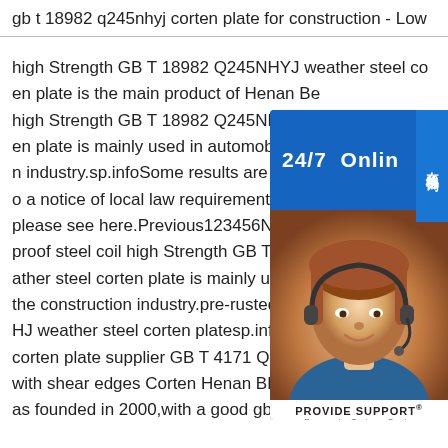gb t 18982 q245nhyj corten plate for construction - Low
high Strength GB T 18982 Q245NHYJ weather steel corten plate is the main product of Henan Bebon high Strength GB T 18982 Q245NHYJ weather steel corten plate is mainly used in automobile or construction industry.sp.infoSome results are removed due to a notice of local law requirement.For more information, please see here.Previous123456Nextgb t 18982 proof steel coil high Strength GB T 18982 Q245NHYJ weather steel corten plate is mainly used in the construction industry.pre-rusted GB T 18982 Q310GNHJ weather steel corten platesp.infogb t 18982 q245nhyj corten plate supplier GB T 4171 Q265GNH weather steel with shear edges Corten Henan BEBON Iron Steel Co. was founded in 2000,with a good gb t 18982 q245nhyj cort
[Figure (illustration): Customer support widget showing 24/7 Online text, a photo of a customer service representative wearing a headset, PROVIDE SUPPORT Empowering Customer Service label, and an 'online live' button. Chinese text 在线咨询 on right side.]